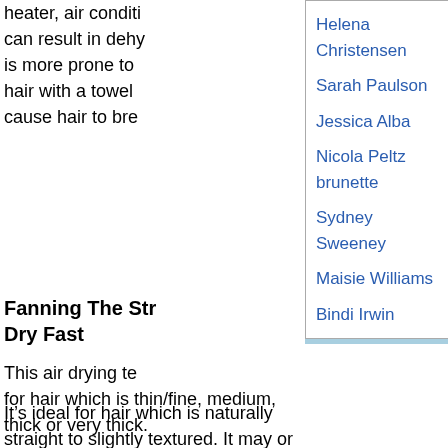heater, air conditi can result in dehy is more prone to hair with a towel cause hair to bre
Helena Christensen
Sarah Paulson
Jessica Alba
Nicola Peltz brunette
Sydney Sweeney
Maisie Williams
Bindi Irwin
Fanning The Str Dry Fast
This air drying te for hair which is thin/fine, medium, thick or very thick.
Quick Poll
It’s ideal for hair which is naturally straight to slightly textured. It may or may not work for hair with is tightly textured or hair which tends to frizz when dried with fingers or hands. Hair which is chemically treated, damaged, super dry or overly porous, may also not dry as